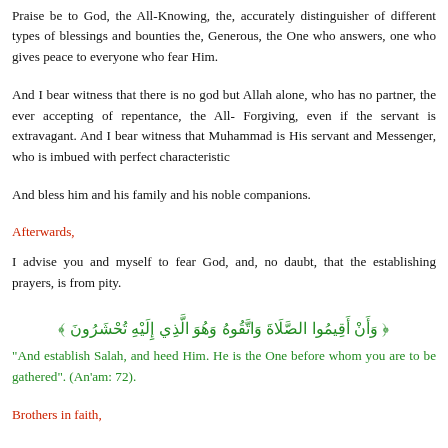Praise be to God, the All-Knowing, the, accurately distinguisher of different types of blessings and bounties the, Generous, the One who answers, one who gives peace to everyone who fear Him.
And I bear witness that there is no god but Allah alone, who has no partner, the ever accepting of repentance, the All- Forgiving, even if the servant is extravagant. And I bear witness that Muhammad is His servant and Messenger, who is imbued with perfect characteristic
And bless him and his family and his noble companions.
Afterwards,
I advise you and myself to fear God, and, no daubt, that the establishing prayers, is from pity.
[Figure (other): Arabic Quranic verse in green text: وَأَنْ أَقِيمُوا الصَّلَاةَ وَاتَّقُوهُ وَهُوَ الَّذِي إِلَيْهِ تُحْشَرُونَ]
"And establish Salah, and heed Him. He is the One before whom you are to be gathered". (An'am: 72).
Brothers in faith,